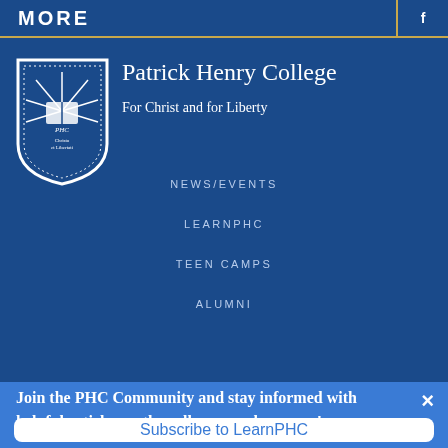MORE
[Figure (logo): Patrick Henry College shield/crest logo in white on dark blue background]
Patrick Henry College
For Christ and for Liberty
NEWS/EVENTS
LEARNPHC
TEEN CAMPS
ALUMNI
Join the PHC Community and stay informed with helpful articles on the college search process!
Subscribe to LearnPHC